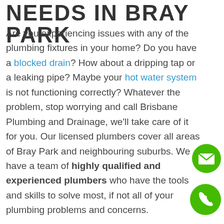NEEDS IN BRAY PARK
Are you experiencing issues with any of the plumbing fixtures in your home? Do you have a blocked drain? How about a dripping tap or a leaking pipe? Maybe your hot water system is not functioning correctly? Whatever the problem, stop worrying and call Brisbane Plumbing and Drainage, we'll take care of it for you. Our licensed plumbers cover all areas of Bray Park and neighbouring suburbs. We have a team of highly qualified and experienced plumbers who have the tools and skills to solve most, if not all of your plumbing problems and concerns.
[Figure (illustration): Green circle with white envelope/email icon]
[Figure (illustration): Green circle with white phone/call icon]